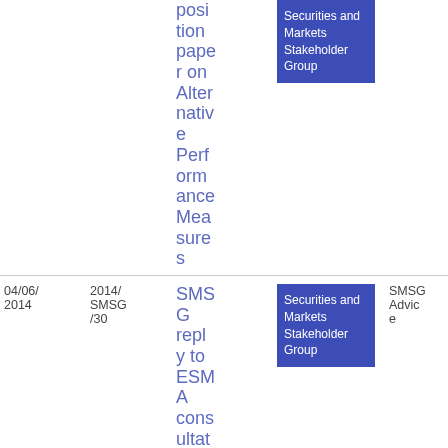| Date | Reference | Title | Group | Type | Download |
| --- | --- | --- | --- | --- | --- |
|  |  | position paper on Alternative Performance Measures | Securities and Markets Stakeholder Group |  | 14
5.69 KB |
| 04/06/2014 | 2014/SMSG/30 | SMSG reply to ESMA consultation... | Securities and Markets Stakeholder Group | SMSG Advice | PDF
160.14 KB |